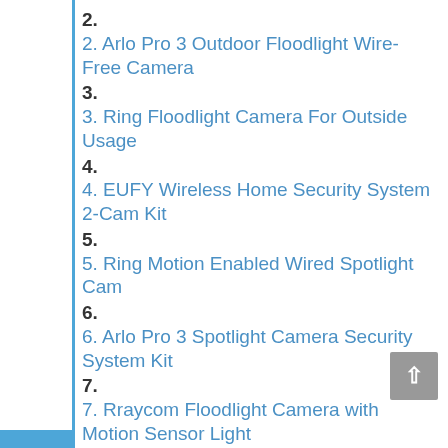2. 2. Arlo Pro 3 Outdoor Floodlight Wire-Free Camera
3. 3. Ring Floodlight Camera For Outside Usage
4. 4. EUFY Wireless Home Security System 2-Cam Kit
5. 5. Ring Motion Enabled Wired Spotlight Cam
6. 6. Arlo Pro 3 Spotlight Camera Security System Kit
7. 7. Rraycom Floodlight Camera with Motion Sensor Light
5. FAQs
1. How to install Ring floodlight with camera?
2. Can you use a Ring floodlight with the camera off?